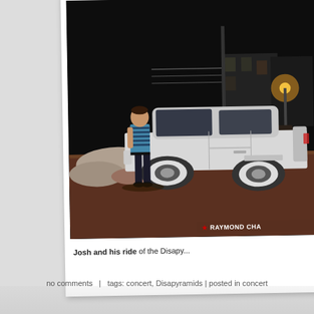[Figure (photo): A person (Josh) standing next to a white classic car in a parking lot at night. The person is wearing a striped shirt and dark pants. The car is a large white vintage American sedan. Background shows other parked cars, a chain-link fence, a utility pole, and city buildings at night. Watermark reads 'RAYMOND CHA' in white text with a red star.]
Josh and his ride of the Disapy...
no comments  |  tags: concert, Disapyramids | posted in concert